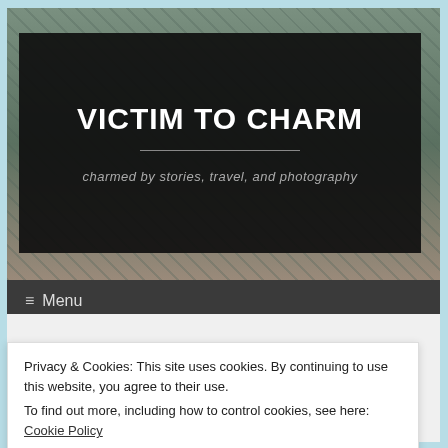[Figure (screenshot): Blog header image with dark overlay box containing site title and subtitle, menu bar below]
VICTIM TO CHARM
charmed by stories, travel, and photography
≡  Menu
Privacy & Cookies: This site uses cookies. By continuing to use this website, you agree to their use.
To find out more, including how to control cookies, see here: Cookie Policy
Close and accept
together people from different areas. While some